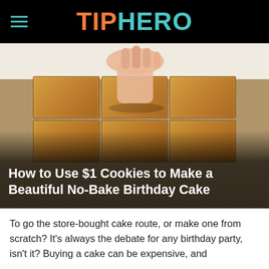TIPHERO
[Figure (photo): Hands placing graham crackers/cookies onto a white cream surface in a baking pan, viewed from above. The image shows rectangular crackers being arranged in rows.]
How to Use $1 Cookies to Make a Beautiful No-Bake Birthday Cake
To go the store-bought cake route, or make one from scratch? It's always the debate for any birthday party, isn't it? Buying a cake can be expensive, and